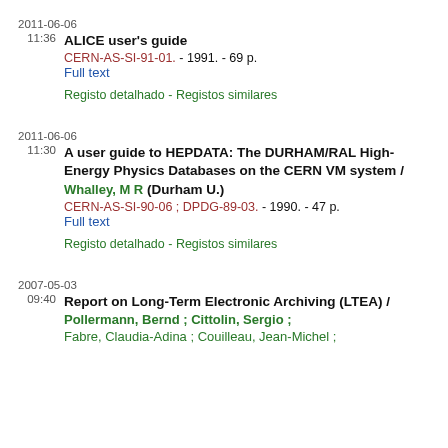2011-06-06
11:36   ALICE user's guide
CERN-AS-SI-91-01. - 1991. - 69 p.
Full text
Registo detalhado - Registos similares
2011-06-06
11:30   A user guide to HEPDATA: The DURHAM/RAL High-Energy Physics Databases on the CERN VM system / Whalley, M R (Durham U.)
CERN-AS-SI-90-06 ; DPDG-89-03. - 1990. - 47 p.
Full text
Registo detalhado - Registos similares
2007-05-03
09:40   Report on Long-Term Electronic Archiving (LTEA) / Pollermann, Bernd ; Cittolin, Sergio ; ...